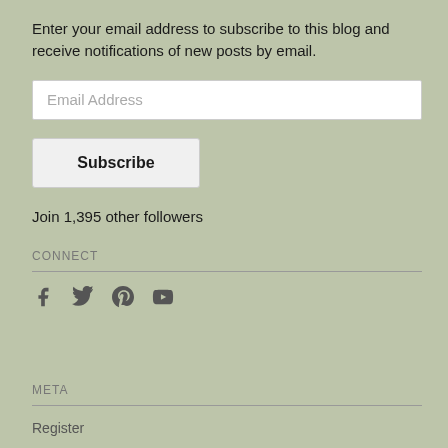Enter your email address to subscribe to this blog and receive notifications of new posts by email.
Email Address
Subscribe
Join 1,395 other followers
CONNECT
[Figure (other): Social media icons: Facebook, Twitter, Pinterest, YouTube]
META
Register